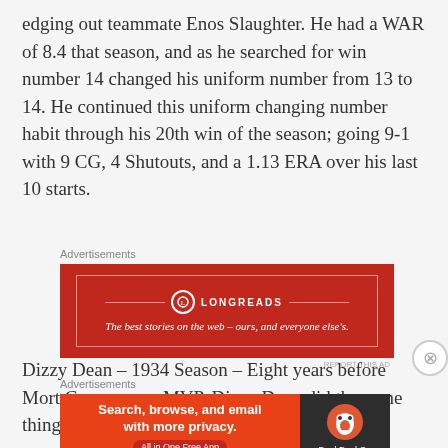edging out teammate Enos Slaughter. He had a WAR of 8.4 that season, and as he searched for win number 14 changed his uniform number from 13 to 14. He continued this uniform changing number habit through his 20th win of the season; going 9-1 with 9 CG, 4 Shutouts, and a 1.13 ERA over his last 10 starts.
[Figure (advertisement): Longreads advertisement: red background with white text 'The best stories on the web – ours, and everyone else's.']
Dizzy Dean – 1934 Season – Eight years before Mort Cooper won MVP, Dizzy Dean did the same thing.
[Figure (advertisement): DuckDuckGo advertisement: 'Search, browse, and email with more privacy. All in One Free App']